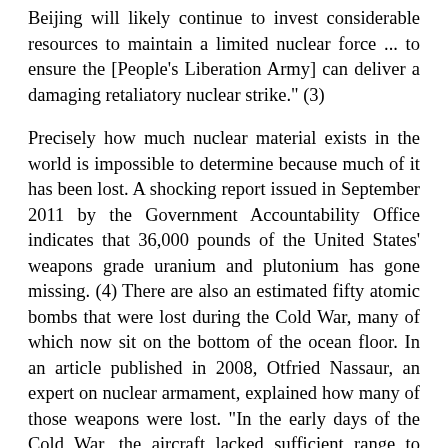Beijing will likely continue to invest considerable resources to maintain a limited nuclear force ... to ensure the [People's Liberation Army] can deliver a damaging retaliatory nuclear strike." (3)
Precisely how much nuclear material exists in the world is impossible to determine because much of it has been lost. A shocking report issued in September 2011 by the Government Accountability Office indicates that 36,000 pounds of the United States' weapons grade uranium and plutonium has gone missing. (4) There are also an estimated fifty atomic bombs that were lost during the Cold War, many of which now sit on the bottom of the ocean floor. In an article published in 2008, Otfried Nassaur, an expert on nuclear armament, explained how many of those weapons were lost. "In the early days of the Cold War, the aircraft lacked sufficient range to cross the Atlantic on one tank of fuel. Some bombers collided with their tanker planes, while others simply missed the tankers and, after running out of fuel, plunged into the sea." The article also recounts the story of a B-52 bomber...